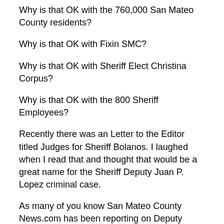Why is that OK with the 760,000 San Mateo County residents?
Why is that OK with Fixin SMC?
Why is that OK with Sheriff Elect Christina Corpus?
Why is that OK with the 800 Sheriff Employees?
Recently there was an Letter to the Editor titled Judges for Sheriff Bolanos. I laughed when I read that and thought that would be a great name for the Sheriff Deputy Juan P. Lopez criminal case.
As many of you know San Mateo County News.com has been reporting on Deputy Lopez's case from the very beginning. I have attended almost every single hearing for